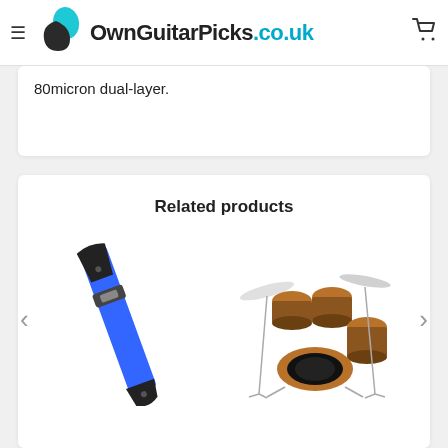OwnGuitarPicks.co.uk
80micron dual-layer.
Related products
[Figure (photo): Blue guitar strap with black leather ends and metal buckle]
[Figure (photo): Drum kit set with cymbals, multiple drums in brown/copper finish]